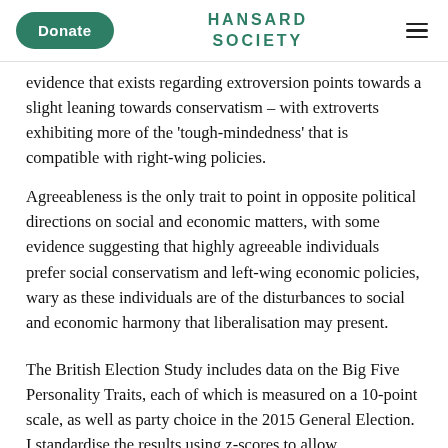Donate | HANSARD SOCIETY
evidence that exists regarding extroversion points towards a slight leaning towards conservatism – with extroverts exhibiting more of the 'tough-mindedness' that is compatible with right-wing policies. Agreeableness is the only trait to point in opposite political directions on social and economic matters, with some evidence suggesting that highly agreeable individuals prefer social conservatism and left-wing economic policies, wary as these individuals are of the disturbances to social and economic harmony that liberalisation may present.
The British Election Study includes data on the Big Five Personality Traits, each of which is measured on a 10-point scale, as well as party choice in the 2015 General Election. I standardise the results using z-scores to allow